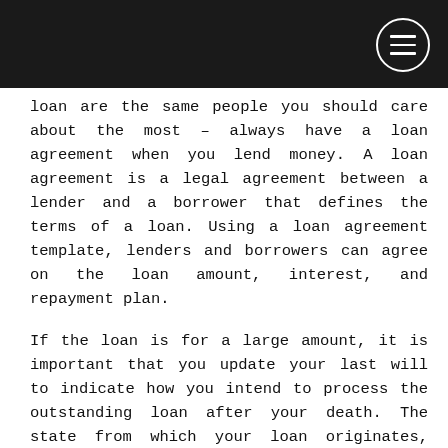loan are the same people you should care about the most – always have a loan agreement when you lend money. A loan agreement is a legal agreement between a lender and a borrower that defines the terms of a loan. Using a loan agreement template, lenders and borrowers can agree on the loan amount, interest, and repayment plan.
If the loan is for a large amount, it is important that you update your last will to indicate how you intend to process the outstanding loan after your death. The state from which your loan originates, that is, the state in which the lender`s business operates or resides, is the state that regulates your loan. In this example, our loan is from New York State. Like any legally binding agreement, a credit agreement has certain terminologies that are scattered throughout the contract. These terms have their own purpose in the credit agreement and therefore it is important to understand the meaning of these terms when creating or using a credit agreement. Collateral – A valuable item, such as a home, is used as